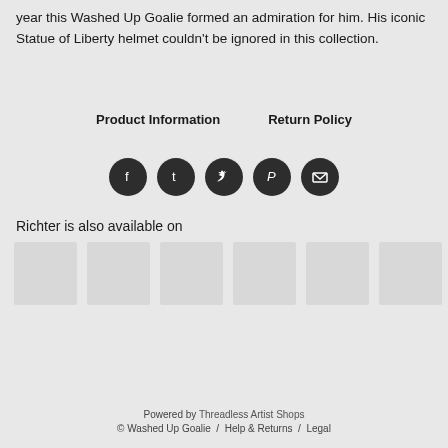year this Washed Up Goalie formed an admiration for him. His iconic Statue of Liberty helmet couldn't be ignored in this collection.
Product Information    Return Policy
[Figure (infographic): Five dark circular social media icon buttons: Facebook (f), Tumblr (t), Twitter bird, Pinterest (P), Email (envelope)]
Richter is also available on
[Figure (other): Six light gray square thumbnail images in a horizontal row]
Powered by Threadless Artist Shops
© Washed Up Goalie / Help & Returns / Legal